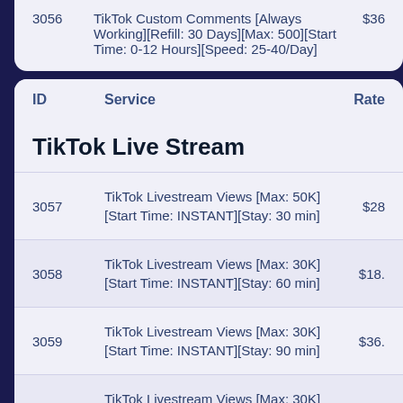| ID | Service | Rate |
| --- | --- | --- |
| 3056 | TikTok Custom Comments [Always Working][Refill: 30 Days][Max: 500][Start Time: 0-12 Hours][Speed: 25-40/Day] | $36 |
| ID | Service | Rate |
| --- | --- | --- |
TikTok Live Stream
| ID | Service | Rate |
| --- | --- | --- |
| 3057 | TikTok Livestream Views [Max: 50K][Start Time: INSTANT][Stay: 30 min] | $28 |
| 3058 | TikTok Livestream Views [Max: 30K][Start Time: INSTANT][Stay: 60 min] | $18. |
| 3059 | TikTok Livestream Views [Max: 30K][Start Time: INSTANT][Stay: 90 min] | $36. |
| 3060 | TikTok Livestream Views [Max: 30K][Start Time: INSTANT][Stay: 120 min] | $72 |